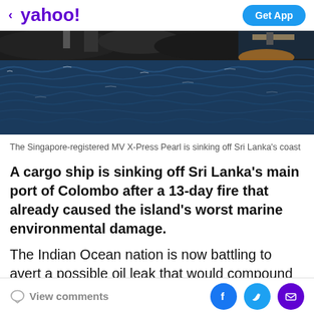< yahoo! | Get App
[Figure (photo): The Singapore-registered MV X-Press Pearl cargo ship sinking off Sri Lanka's coast, showing dark ocean waves with the partially submerged vessel in the background]
The Singapore-registered MV X-Press Pearl is sinking off Sri Lanka's coast
A cargo ship is sinking off Sri Lanka's main port of Colombo after a 13-day fire that already caused the island's worst marine environmental damage.
The Indian Ocean nation is now battling to avert a possible oil leak that would compound the pollution
View comments